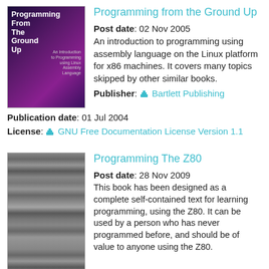[Figure (photo): Book cover of 'Programming From The Ground Up' — dark purple/magenta gradient background with white bold title text]
Programming from the Ground Up
Post date: 02 Nov 2005
An introduction to programming using assembly language on the Linux platform for x86 machines. It covers many topics skipped by other similar books.
Publisher: Bartlett Publishing
Publication date: 01 Jul 2004
License: GNU Free Documentation License Version 1.1
[Figure (photo): Book cover of 'Programming The Z80' — grayscale textured dark background, no distinct text visible]
Programming The Z80
Post date: 28 Nov 2009
This book has been designed as a complete self-contained text for learning programming, using the Z80. It can be used by a person who has never programmed before, and should be of value to anyone using the Z80.
Publisher: Sybex
Publication date: 31 Dec 1981